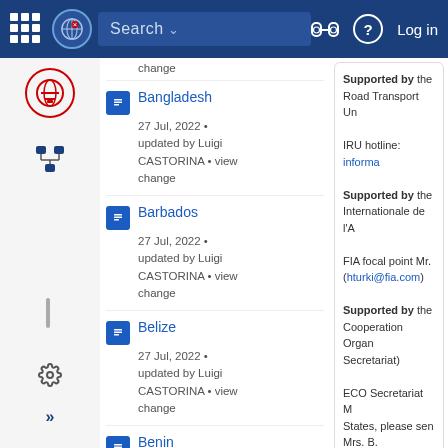Search | Log in — UN navigation bar
change
Bangladesh — 27 Jul, 2022 • updated by Luigi CASTORINA • view change
Barbados — 27 Jul, 2022 • updated by Luigi CASTORINA • view change
Belize — 27 Jul, 2022 • updated by Luigi CASTORINA • view change
Benin — 27 Jul, 2022 • updated by Luigi CASTORINA • view change
Bhutan — 27 Jul, 2022 •
Supported by the Road Transport Un

IRU hotline: informa

Supported by the Internationale de l'A

FIA focal point Mr. (hturki@fia.com)

Supported by the Cooperation Organ Secretariat)

ECO Secretariat M States, please sen Mrs. B. Adilbekova (adilbel
Resources — Border Crossings